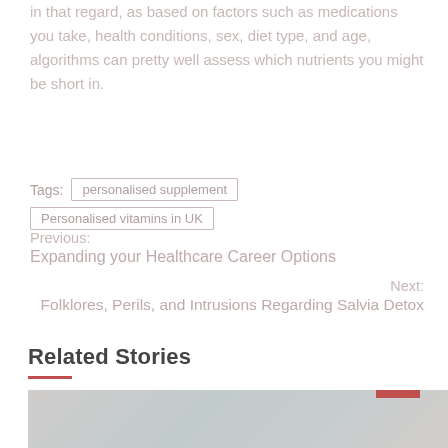in that regard, as based on factors such as medications you take, health conditions, sex, diet type, and age, algorithms can pretty well assess which nutrients you might be short in.
Tags: personalised supplement | Personalised vitamins in UK
Previous:
Expanding your Healthcare Career Options
Next:
Forklores, Perils, and Intrusions Regarding Salvia Detox
Related Stories
[Figure (photo): Exterior photo of a building or house with trees in the background, faded/light appearance]